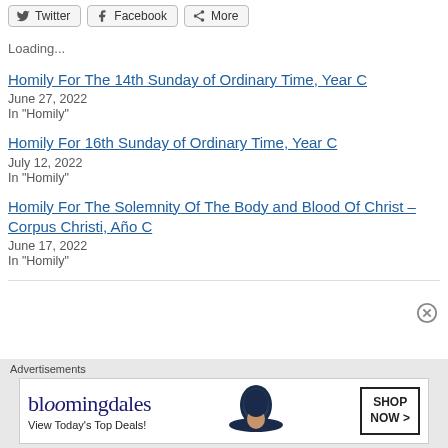[Figure (other): Share buttons: Twitter, Facebook, More]
Loading...
Homily For The 14th Sunday of Ordinary Time, Year C
June 27, 2022
In "Homily"
Homily For 16th Sunday of Ordinary Time, Year C
July 12, 2022
In "Homily"
Homily For The Solemnity Of The Body and Blood Of Christ – Corpus Christi, Año C
June 17, 2022
In "Homily"
[Figure (other): Bloomingdales advertisement banner: 'View Today's Top Deals!' with SHOP NOW button and woman in hat]
Advertisements